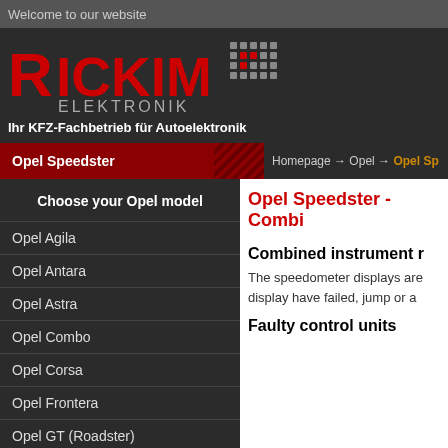Welcome to our website
[Figure (logo): Rickim Elektronik logo with red and gray dot-grid pattern and text 'Ihr KFZ-Fachbetrieb für Autoelektronik']
Opel Speedster
Homepage → Opel → Opel Sp
Choose your Opel model
Opel Agila
Opel Antara
Opel Astra
Opel Combo
Opel Corsa
Opel Frontera
Opel GT (Roadster)
Opel Insignia
Opel Speedster - Combi
Combined instrument r
The speedometer displays are display have failed, jump or a
Faulty control units